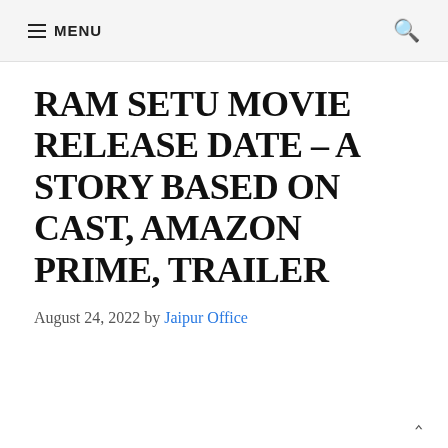≡ MENU
RAM SETU MOVIE RELEASE DATE – A STORY BASED ON CAST, AMAZON PRIME, TRAILER
August 24, 2022 by Jaipur Office